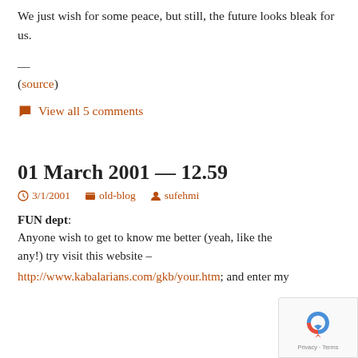We just wish for some peace, but still, the future looks bleak for us.
—
(source)
💬 View all 5 comments
01 March 2001 — 12.59
🕐 3/1/2001   📁 old-blog   👤 sufehmi
FUN dept: Anyone wish to get to know me better (yeah, like the any!) try visit this website – http://www.kabalarians.com/gkb/your.htm; and enter my